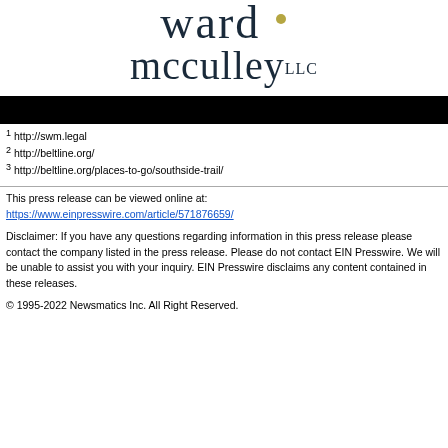[Figure (logo): Ward McCulley LLC law firm logo with serif text and decorative dot element]
[Figure (other): Black redacted/header bar]
1 http://swm.legal
2 http://beltline.org/
3 http://beltline.org/places-to-go/southside-trail/
This press release can be viewed online at: https://www.einpresswire.com/article/571876659/

Disclaimer: If you have any questions regarding information in this press release please contact the company listed in the press release. Please do not contact EIN Presswire. We will be unable to assist you with your inquiry. EIN Presswire disclaims any content contained in these releases.

© 1995-2022 Newsmatics Inc. All Right Reserved.